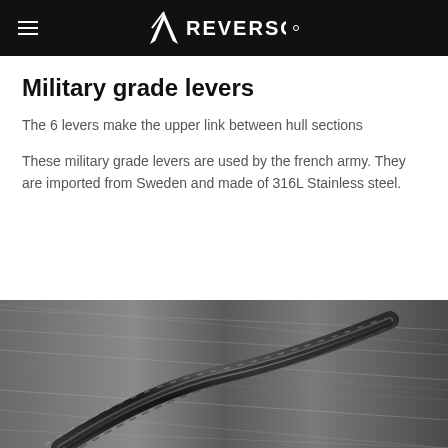REVERSO
Military grade levers
The 6 levers make the upper link between hull sections
These military grade levers are used by the french army. They are imported from Sweden and made of 316L Stainless steel.
[Figure (photo): Close-up black and white photograph of braided stainless steel cable or levers with textured metal surface]